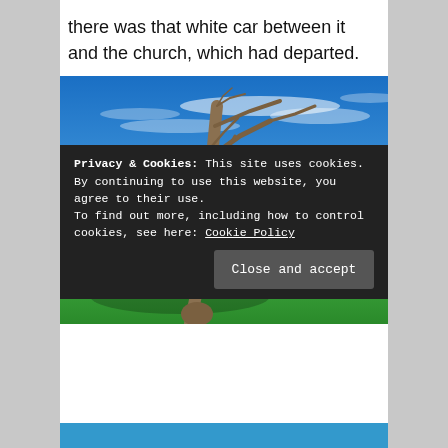there was that white car between it and the church, which had departed.
[Figure (photo): A dead bare tree leaning in an open green field, with a stone church building visible in the background under a vivid blue sky with wispy clouds. A wooden fence is visible to the right.]
Privacy & Cookies: This site uses cookies. By continuing to use this website, you agree to their use.
To find out more, including how to control cookies, see here: Cookie Policy
Close and accept